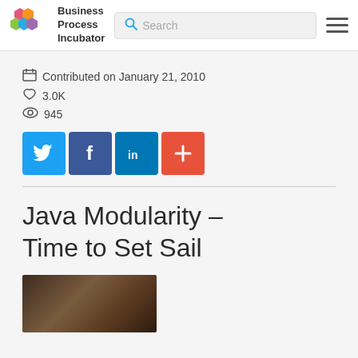Business Process Incubator — Search — Menu
Contributed on January 21, 2010
3.0K
945
[Figure (other): Social sharing buttons: Twitter, Facebook, LinkedIn, and a plus/share button]
Java Modularity – Time to Set Sail
[Figure (photo): Partial photo of a person, cropped at bottom of page]